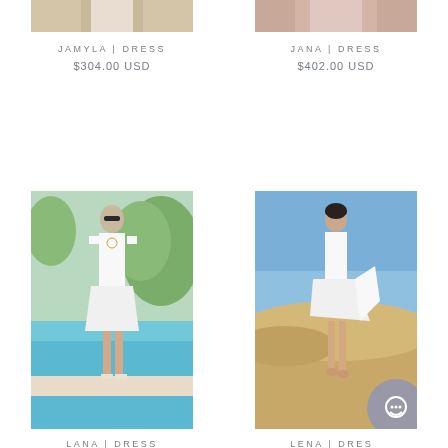[Figure (photo): Partial top view of a model wearing a white dress, cropped at top (Jamyla Dress)]
JAMYLA | DRESS
$304.00 USD
[Figure (photo): Partial top view of a model wearing a white dress, cropped at top (Jana Dress)]
JANA | DRESS
$402.00 USD
[Figure (photo): Model wearing a white ruffled dress standing by a pool with olive trees in the background (Lana Dress)]
LANA | DRESS
$269.00 USD
[Figure (photo): Model wearing a white dress standing on sand dunes in the desert under blue sky (Lena Dress), partially obscured by chat widget]
LENA | DRESS
$236.00 USD